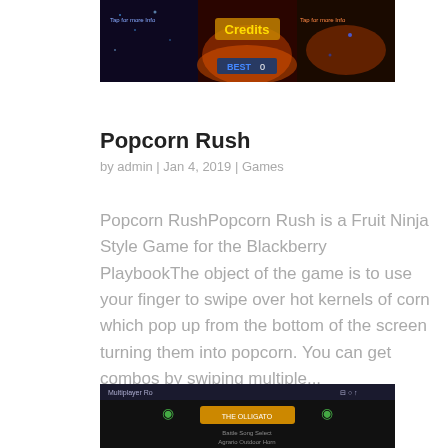[Figure (screenshot): Screenshot of a game interface showing 'Credits', 'BEST 0', and fire/action elements with 'Tap for more info' text.]
Popcorn Rush
by admin | Jan 4, 2019 | Games
Popcorn RushPopcorn Rush is a Fruit Ninja Style Game for the Blackberry PlaybookThe object of the game is to use your finger to swipe over hot kernels of corn which pop up from the bottom of the screen turning them into popcorn. You can get combos by swiping multiple...
[Figure (screenshot): Screenshot of a dark game settings or menu screen showing options and a yellow highlighted element.]